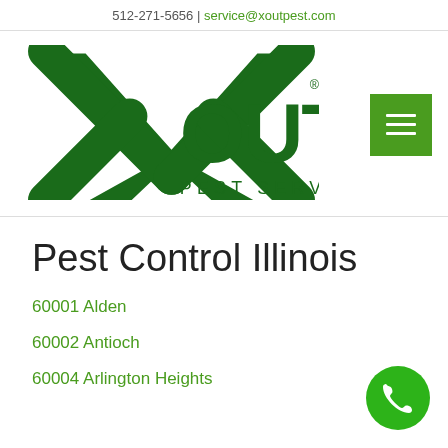512-271-5656 | service@xoutpest.com
[Figure (logo): X Out Pest Services logo — large dark green X with the word OUT beside it and PEST SERVICES below, with a registered trademark symbol]
Pest Control Illinois
60001 Alden
60002 Antioch
60004 Arlington Heights